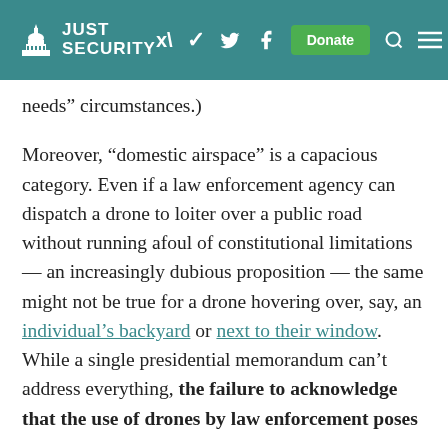JUST SECURITY
needs” circumstances.)
Moreover, “domestic airspace” is a capacious category. Even if a law enforcement agency can dispatch a drone to loiter over a public road without running afoul of constitutional limitations — an increasingly dubious proposition — the same might not be true for a drone hovering over, say, an individual’s backyard or next to their window. While a single presidential memorandum can’t address everything, the failure to acknowledge that the use of drones by law enforcement poses special privacy risks is a major omission